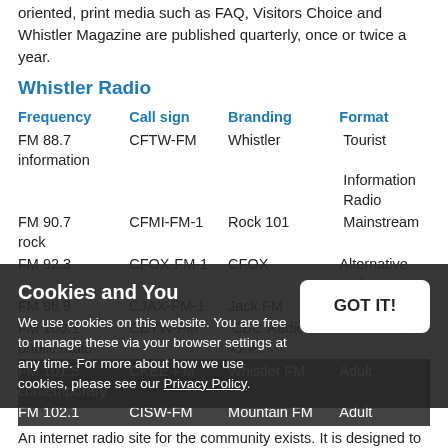oriented, print media such as FAQ, Visitors Choice and Whistler Magazine are published quarterly, once or twice a year.
Whistler Radio
| Frequency | Call sign | Branding | Format |
| --- | --- | --- | --- |
| FM 88.7 information | CFTW-FM | Whistler | Tourist Information Radio |
| FM 90.7 rock | CFMI-FM-1 | Rock 101 | Mainstream |
| FM 92.3 | CFOX-FM-1 | CFOX | Alternative rock |
| FM 96.9 | CJAX-FM-1 | Jack FM | Adult hits |
| FM 100.1 public radio | CBYW-FM | CBC Radio One | Talk radio, |
| FM 101.5 contemporary | CKEE-FM | Whistler FM | Adult |
| FM 102.1 contemporary | CISW-FM | Mountain FM | Adult |
| FM 103.1 public radio | CBUW-FM | Radio Canada | Talk radio, |
An internet radio site for the community exists. It is designed to
Cookies and You
We use cookies on this website. You are free to manage these via your browser settings at any time. For more about how we use cookies, please see our Privacy Policy.